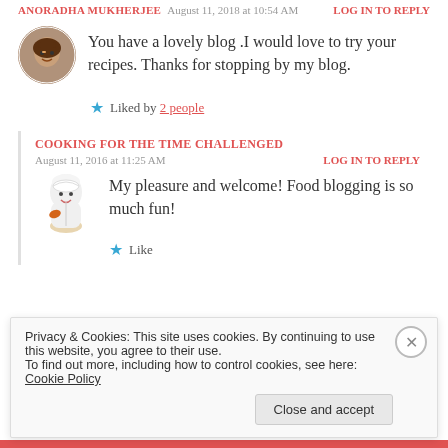ANORADHA MUKHERJEE · August 11, 2016 at 10:54 AM · LOG IN TO REPLY
You have a lovely blog .I would love to try your recipes. Thanks for stopping by my blog.
★ Liked by 2 people
COOKING FOR THE TIME CHALLENGED
August 11, 2016 at 11:25 AM   LOG IN TO REPLY
My pleasure and welcome! Food blogging is so much fun!
★ Like
Privacy & Cookies: This site uses cookies. By continuing to use this website, you agree to their use.
To find out more, including how to control cookies, see here: Cookie Policy
Close and accept